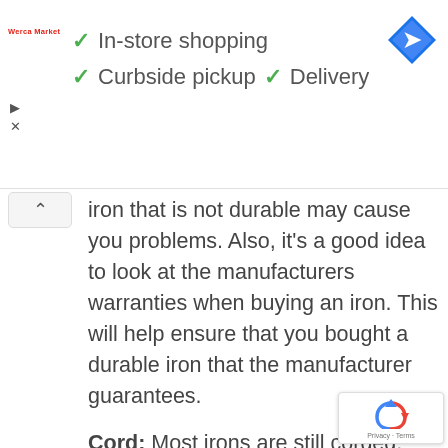[Figure (screenshot): Google Maps / store info banner showing: Werca Market logo (red text), navigation play/close icons on left, green checkmarks with 'In-store shopping', 'Curbside pickup', 'Delivery' text in gray, and a blue Google Maps diamond direction icon top right]
iron that is not durable may cause you problems. Also, it's a good idea to look at the manufacturers warranties when buying an iron. This will help ensure that you bought a durable iron that the manufacturer guarantees.
Cord: Most irons are still corded. You probably want an iron with a long cord for the most flexibility in movement. It's also a good idea to look for a retractable cord for easy
[Figure (logo): Google reCAPTCHA badge with recycling-arrow icon and 'Privacy · Terms' text]